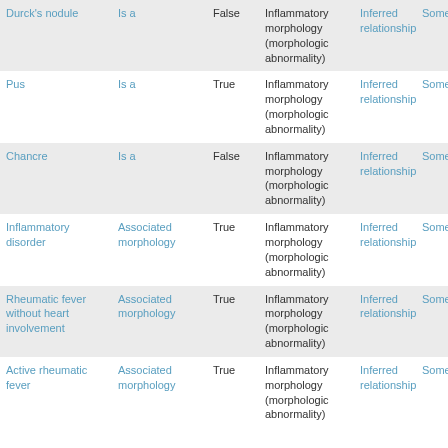| Durck's nodule | Is a | False | Inflammatory morphology (morphologic abnormality) | Inferred relationship | Some |
| Pus | Is a | True | Inflammatory morphology (morphologic abnormality) | Inferred relationship | Some |
| Chancre | Is a | False | Inflammatory morphology (morphologic abnormality) | Inferred relationship | Some |
| Inflammatory disorder | Associated morphology | True | Inflammatory morphology (morphologic abnormality) | Inferred relationship | Some |
| Rheumatic fever without heart involvement | Associated morphology | True | Inflammatory morphology (morphologic abnormality) | Inferred relationship | Some |
| Active rheumatic fever | Associated morphology | True | Inflammatory morphology (morphologic abnormality) | Inferred relationship | Some |